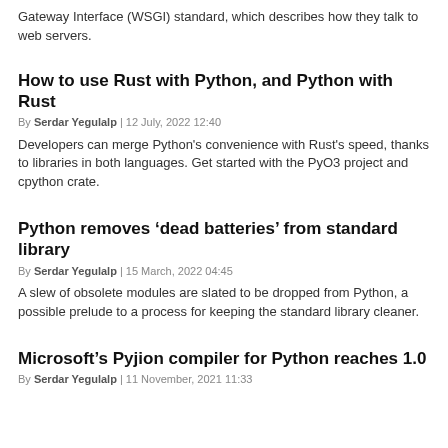Gateway Interface (WSGI) standard, which describes how they talk to web servers.
How to use Rust with Python, and Python with Rust
By Serdar Yegulalp | 12 July, 2022 12:40
Developers can merge Python's convenience with Rust's speed, thanks to libraries in both languages. Get started with the PyO3 project and cpython crate.
Python removes ‘dead batteries’ from standard library
By Serdar Yegulalp | 15 March, 2022 04:45
A slew of obsolete modules are slated to be dropped from Python, a possible prelude to a process for keeping the standard library cleaner.
Microsoft’s Pyjion compiler for Python reaches 1.0
By Serdar Yegulalp | 11 November, 2021 11:33